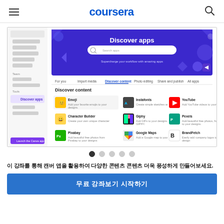coursera
[Figure (screenshot): Screenshot of Canva's 'Discover apps' page showing app categories including Emoji, Character Builder, Pixabay, Bitmoji, Instafonts, Giphy, Pexels, Google Maps, BrandFetch, Pixton, Stamp and others. The page has a purple header banner with a search bar.]
이 강좌를 통해 캔버 앱을 활용하여 다양한 콘텐츠 콘텐츠 더욱 풍성하게 만들어보세요.
무료 강좌보기 시작하기